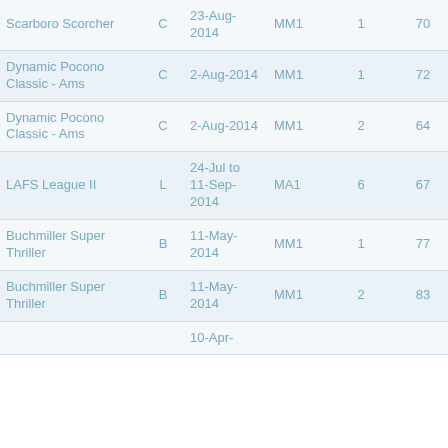| Scarboro Scorcher | C | 23-Aug-2014 | MM1 | 1 | 70 | 829 |
| Dynamic Pocono Classic - Ams | C | 2-Aug-2014 | MM1 | 1 | 72 | 798 |
| Dynamic Pocono Classic - Ams | C | 2-Aug-2014 | MM1 | 2 | 64 | 880 |
| LAFS League II | L | 24-Jul to 11-Sep-2014 | MA1 | 6 | 67 | 790 |
| Buchmiller Super Thriller | B | 11-May-2014 | MM1 | 1 | 77 | 901 |
| Buchmiller Super Thriller | B | 11-May-2014 | MM1 | 2 | 83 | 844 |
|  |  | 10-Apr- |  |  |  |  |